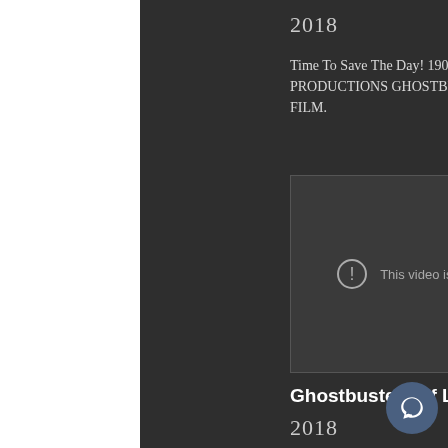2018
Time To Save The Day! 190X PRODUCTIONS GHOSTBUSTERS FAN FILM.
[Figure (screenshot): Embedded video player showing 'This video is unavailable' message with a YouTube play button icon in the bottom right corner.]
Ghostbusters of Long Bea
2018